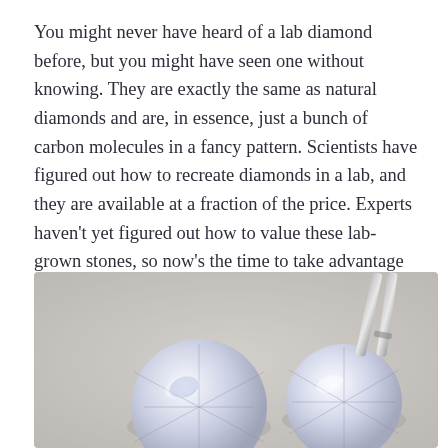You might never have heard of a lab diamond before, but you might have seen one without knowing. They are exactly the same as natural diamonds and are, in essence, just a bunch of carbon molecules in a fancy pattern. Scientists have figured out how to recreate diamonds in a lab, and they are available at a fraction of the price. Experts haven't yet figured out how to value these lab-grown stones, so now's the time to take advantage while they're cheap.
[Figure (photo): Close-up photograph of two round brilliant-cut diamonds on a gray textured surface, with a metal tweezer holding one of the diamonds in the upper right area.]